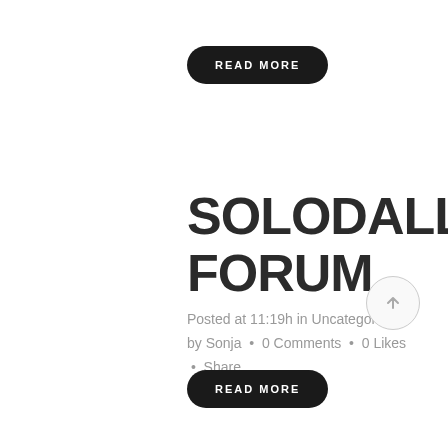READ MORE
SOLODALLAS' FORUM
Posted at 11:19h in Uncategorized by Sonja · 0 Comments · 0 Likes · Share
READ MORE